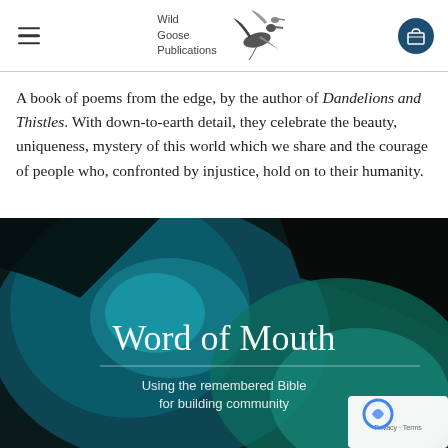Wild Goose Publications
A book of poems from the edge, by the author of Dandelions and Thistles. With down-to-earth detail, they celebrate the beauty, uniqueness, mystery of this world which we share and the courage of people who, confronted by injustice, hold on to their humanity.
[Figure (photo): Book cover of 'Word of Mouth - Using the remembered Bible for building community', showing a close-up of a face/eye with blue and teal tones]